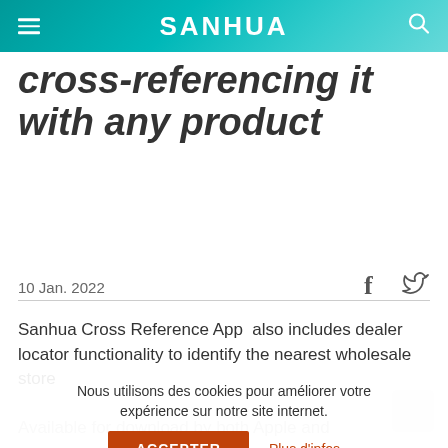SANHUA
cross-referencing it with any product
10 Jan. 2022
Sanhua Cross Reference App  also includes dealer locator functionality to identify the nearest wholesale store location and also to look for more information, and the app, check it out!
Nous utilisons des cookies pour améliorer votre expérience sur notre site internet.
ACCEPTER   Plus d'infos
Available for download by both Apple and